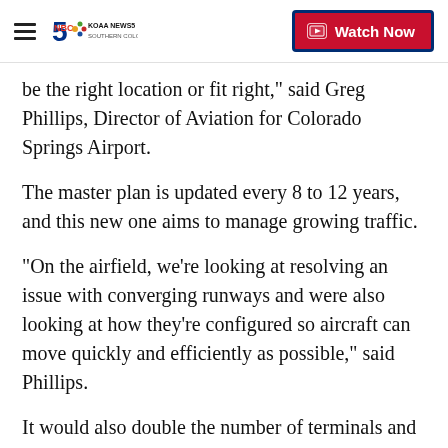KOAA News 5 Southern Colorado — Watch Now
be the right location or fit right," said Greg Phillips, Director of Aviation for Colorado Springs Airport.
The master plan is updated every 8 to 12 years, and this new one aims to manage growing traffic.
"On the airfield, we're looking at resolving an issue with converging runways and were also looking at how they're configured so aircraft can move quickly and efficiently as possible," said Phillips.
It would also double the number of terminals and relocate the control center.